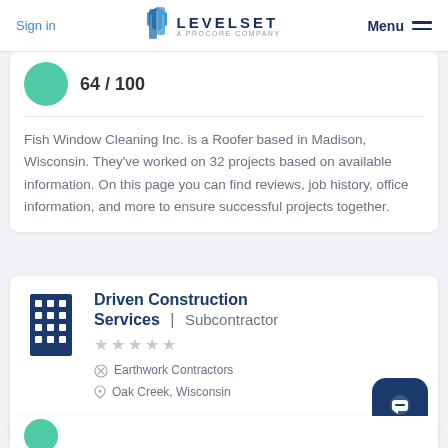Sign in  LEVELSET A PROCORE COMPANY  Menu
64 / 100
Fish Window Cleaning Inc. is a Roofer based in Madison, Wisconsin. They've worked on 32 projects based on available information. On this page you can find reviews, job history, office information, and more to ensure successful projects together.
Driven Construction Services | Subcontractor
★★★★★
Earthwork Contractors
Oak Creek, Wisconsin